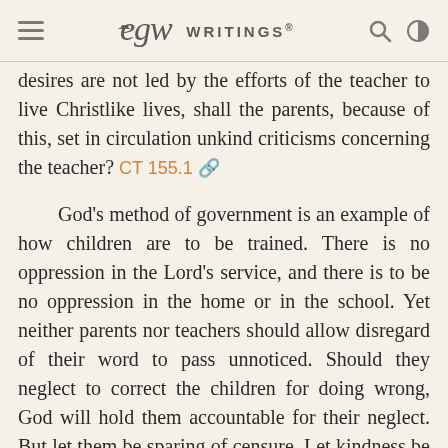EGW WRITINGS®
desires are not led by the efforts of the teacher to live Christlike lives, shall the parents, because of this, set in circulation unkind criticisms concerning the teacher? CT 155.1
God's method of government is an example of how children are to be trained. There is no oppression in the Lord's service, and there is to be no oppression in the home or in the school. Yet neither parents nor teachers should allow disregard of their word to pass unnoticed. Should they neglect to correct the children for doing wrong, God will hold them accountable for their neglect. But let them be sparing of censure. Let kindness be the law of the home and of the school. Let the children be taught to keep the law of the Lord, and let a firm, loving